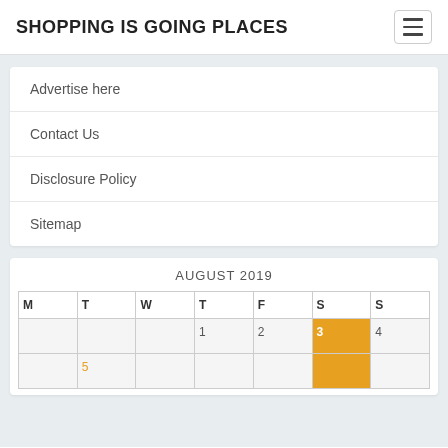SHOPPING IS GOING PLACES
Advertise here
Contact Us
Disclosure Policy
Sitemap
| M | T | W | T | F | S | S |
| --- | --- | --- | --- | --- | --- | --- |
|  |  |  | 1 | 2 | 3 | 4 |
|  |  |  |  |  |  |  |